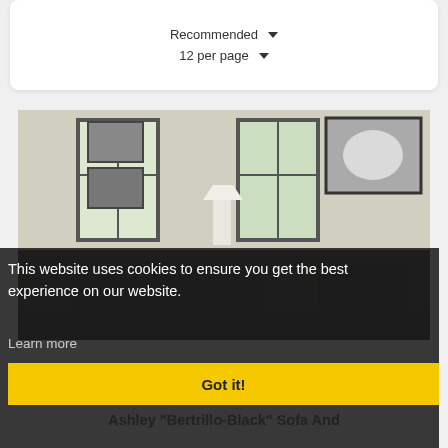Recommended ▾
12 per page ▾
[Figure (photo): Interior room photo showing dark leather sofa, wall art with horses, framed pictures, and windows with natural light.]
This website uses cookies to ensure you get the best experience on our website.
Learn more
Got it!
Ashley "Bertrillo-Black" Sofa And